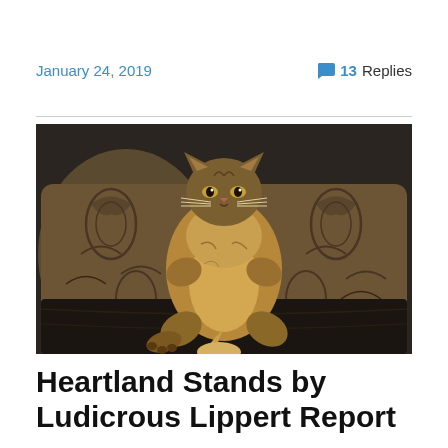January 24, 2019   13 Replies
[Figure (photo): A fluffy long-haired cat lounging on a dark leather sofa between two decorative brown patterned throw pillows, with its belly up and paws stretched out, looking directly at the camera with a grumpy expression.]
Heartland Stands by Ludicrous Lippert Report